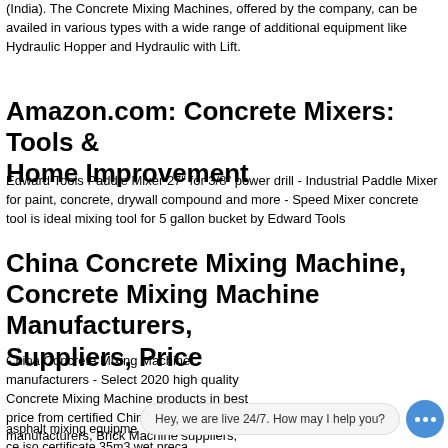(India). The Concrete Mixing Machines, offered by the company, can be availed in various types with a wide range of additional equipment like Hydraulic Hopper and Hydraulic with Lift.
Amazon.com: Concrete Mixers: Tools & Home Improvement
Edward Tools Paddle Mixer 27" for 3/8" power drill - Industrial Paddle Mixer for paint, concrete, drywall compound and more - Speed Mixer concrete tool is ideal mixing tool for 5 gallon bucket by Edward Tools
China Concrete Mixing Machine, Concrete Mixing Machine Manufacturers, Suppliers, Price
China Concrete Mixing Machine manufacturers - Select 2020 high quality Concrete Mixing Machine products in best price from certified Chinese Mixing Machine manufacturers, Brick Machine suppliers, wholesalers and factory on Made-in-China.com
asphalt mixing equipment ... b spas hot tub model 251 china ce iso certificate 35m3 wet preca... conseption de silos de stockage de ciment.
[Figure (other): Live chat bubble widget with text 'Hey, we are live 24/7. How may I help you?' and a blue circular icon with three dots]